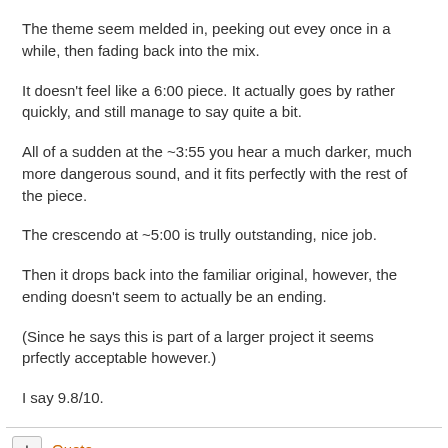The theme seem melded in, peeking out evey once in a while, then fading back into the mix.
It doesn't feel like a 6:00 piece. It actually goes by rather quickly, and still manage to say quite a bit.
All of a sudden at the ~3:55 you hear a much darker, much more dangerous sound, and it fits perfectly with the rest of the piece.
The crescendo at ~5:00 is trully outstanding, nice job.
Then it drops back into the familiar original, however, the ending doesn't seem to actually be an ending.
(Since he says this is part of a larger project it seems prfectly acceptable however.)
I say 9.8/10.